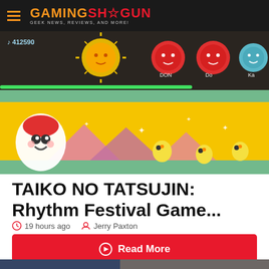GAMING SHOGUN — GEEK NEWS, REVIEWS, AND MORE!
[Figure (screenshot): Taiko no Tatsujin rhythm game screenshot showing taiko drum characters, notes (DON, Ka), score display, and colorful festival background with characters]
TAIKO NO TATSUJIN: Rhythm Festival Game...
19 hours ago   Jerry Paxton
Read More
[Figure (screenshot): NBA basketball video game screenshot showing player in white jersey near basketball hoop with crowd in background]